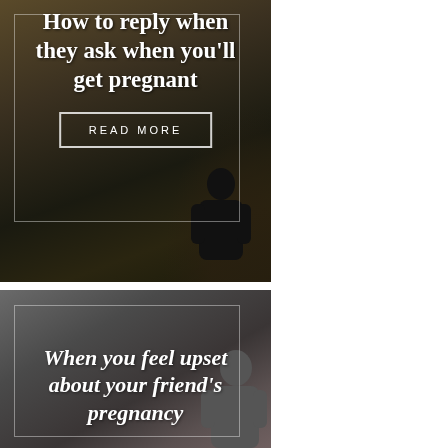[Figure (photo): Dark background image with silhouette of a person, featuring a white inner border box. Text overlay reads 'How to reply when they ask when you'll get pregnant' with a READ MORE button.]
How to reply when they ask when you'll get pregnant
READ MORE
[Figure (photo): Gray/muted background image with a person, featuring a white inner border box. Bold italic text overlay reads 'When you feel upset about your friend's pregnancy' with a READ MORE button partially visible.]
When you feel upset about your friend's pregnancy
READ MORE